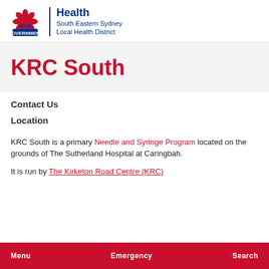[Figure (logo): NSW Government Health - South Eastern Sydney Local Health District logo with NSW flower emblem]
KRC South
Contact Us
Location
KRC South is a primary Needle and Syringe Program located on the grounds of The Sutherland Hospital at Caringbah.
It is run by The Kirketon Road Centre (KRC)
Menu   Emergency   Search